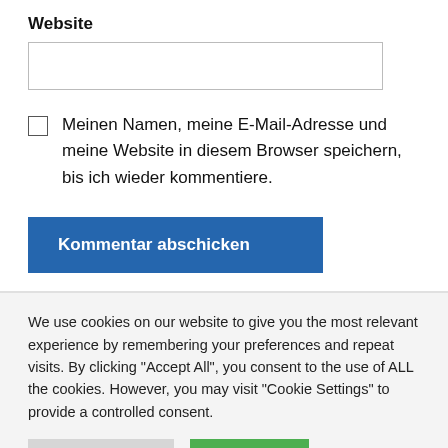Website
Meinen Namen, meine E-Mail-Adresse und meine Website in diesem Browser speichern, bis ich wieder kommentiere.
Kommentar abschicken
We use cookies on our website to give you the most relevant experience by remembering your preferences and repeat visits. By clicking "Accept All", you consent to the use of ALL the cookies. However, you may visit "Cookie Settings" to provide a controlled consent.
Cookie Settings
Accept All